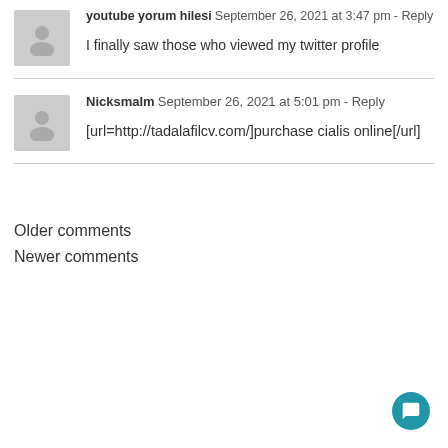youtube yorum hilesi  September 26, 2021 at 3:47 pm - Reply
I finally saw those who viewed my twitter profile
Nicksmalm  September 26, 2021 at 5:01 pm - Reply
[url=http://tadalafilcv.com/]purchase cialis online[/url]
Older comments
Newer comments